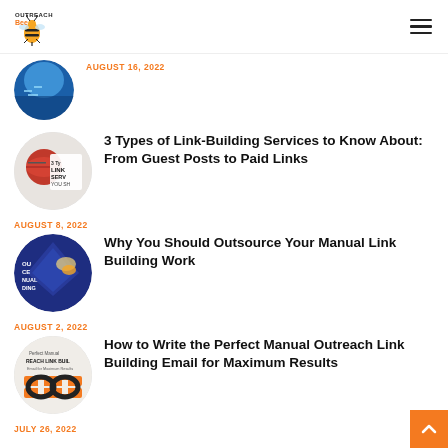Outreach Bee
AUGUST 16, 2022
3 Types of Link-Building Services to Know About: From Guest Posts to Paid Links
AUGUST 8, 2022
Why You Should Outsource Your Manual Link Building Work
AUGUST 2, 2022
How to Write the Perfect Manual Outreach Link Building Email for Maximum Results
JULY 26, 2022